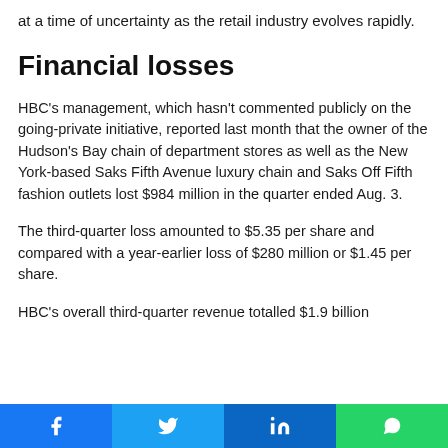at a time of uncertainty as the retail industry evolves rapidly.
Financial losses
HBC's management, which hasn't commented publicly on the going-private initiative, reported last month that the owner of the Hudson's Bay chain of department stores as well as the New York-based Saks Fifth Avenue luxury chain and Saks Off Fifth fashion outlets lost $984 million in the quarter ended Aug. 3.
The third-quarter loss amounted to $5.35 per share and compared with a year-earlier loss of $280 million or $1.45 per share.
HBC's overall third-quarter revenue totalled $1.9 billion